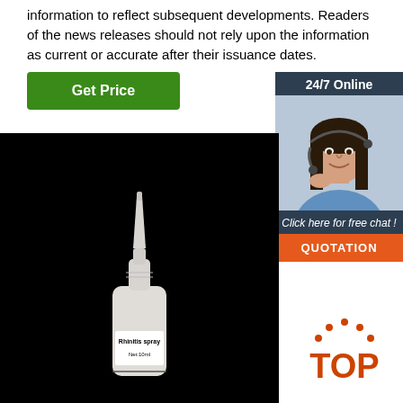information to reflect subsequent developments. Readers of the news releases should not rely upon the information as current or accurate after their issuance dates.
[Figure (other): Green 'Get Price' button]
[Figure (other): 24/7 Online chat panel with customer service representative photo, 'Click here for free chat!' text, and orange QUOTATION button]
[Figure (photo): Rhinitis spray bottle (white nasal spray, Net:10ml label) on black background with 'TOP' logo overlay in bottom right]
Rhinitis spray
Net:10ml